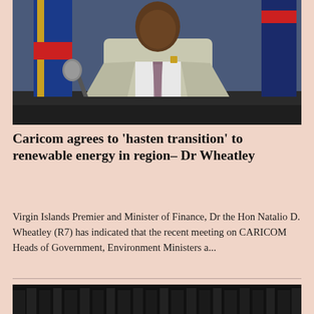[Figure (photo): Man in light grey suit sitting at a desk with a microphone and laptop, flags in background (blue and red/yellow flag), formal press conference or government briefing setting]
Caricom agrees to 'hasten transition' to renewable energy in region– Dr Wheatley
Virgin Islands Premier and Minister of Finance, Dr the Hon Natalio D. Wheatley (R7) has indicated that the recent meeting on CARICOM Heads of Government, Environment Ministers a...
[Figure (photo): Dark image with black curtain or backdrop, mostly dark/black]